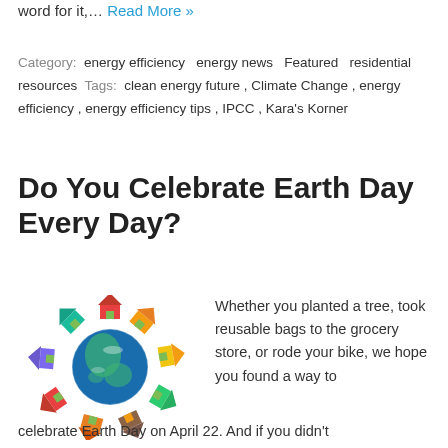word for it,… Read More »
Category: energy efficiency  energy news  Featured  residential resources  Tags: clean energy future , Climate Change , energy efficiency , energy efficiency tips , IPCC , Kara's Korner
Do You Celebrate Earth Day Every Day?
[Figure (illustration): Circular arrangement of colorful house icons around a globe illustration representing Earth Day]
Whether you planted a tree, took reusable bags to the grocery store, or rode your bike, we hope you found a way to celebrate Earth Day on April 22. And if you didn't